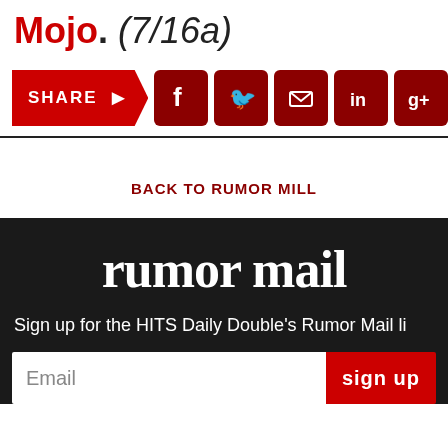Mojo. (7/16a)
[Figure (infographic): Share bar with social media icons: SHARE button (red arrow shape), Facebook, Twitter, Email, LinkedIn, Google+ icons (all dark red rounded squares)]
BACK TO RUMOR MILL
rumor mail
Sign up for the HITS Daily Double's Rumor Mail li
[Figure (other): Email signup form with Email input field and red sign up button]